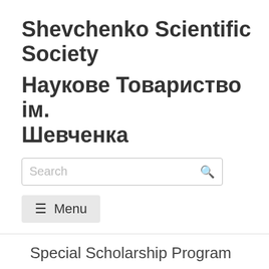Shevchenko Scientific Society
Наукове Товариство ім. Шевченка
[Figure (other): Search input bar with placeholder text 'Search' and a magnifying glass icon]
[Figure (other): Menu button with hamburger icon and label 'Menu']
Special Scholarship Program
ЧИТАТИ УКРАЇНСЬКОЮ
The application process for the special scholarship program was closed on April 15, 2018. No more applications are being